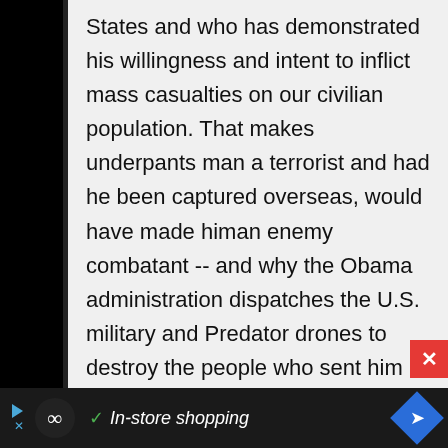States and who has demonstrated his willingness and intent to inflict mass casualties on our civilian population. That makes underpants man a terrorist and had he been captured overseas, would have made himan enemy combatant -- and why the Obama administration dispatches the U.S. military and Predator drones to destroy the people who sent him here. Similarly, the Fort Hood shooter may have been a disturbed "lone wolf" but he was in ideological alignment and in communication with a member of the
[Figure (screenshot): Advertisement bar at bottom of page: dark background with loop/infinity icon, triangle play button, X close button, checkmark, italic text 'In-store shopping', blue diamond navigation icon]